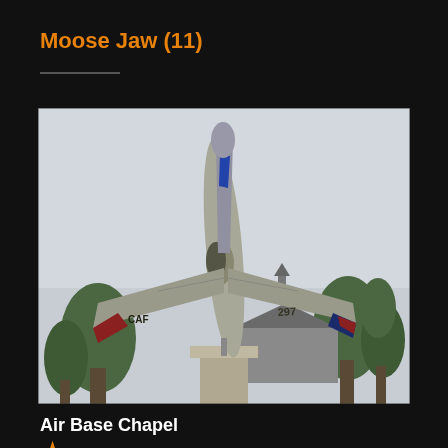Moose Jaw (11)
[Figure (photo): A military jet aircraft (marked 'CAF' and '297') displayed on a pedestal monument, photographed from below showing its underside and tail, surrounded by trees with a chapel building visible in the background.]
Air Base Chapel
★